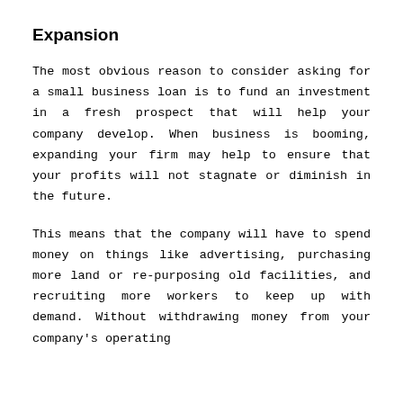Expansion
The most obvious reason to consider asking for a small business loan is to fund an investment in a fresh prospect that will help your company develop. When business is booming, expanding your firm may help to ensure that your profits will not stagnate or diminish in the future.
This means that the company will have to spend money on things like advertising, purchasing more land or re-purposing old facilities, and recruiting more workers to keep up with demand. Without withdrawing money from your company's operating